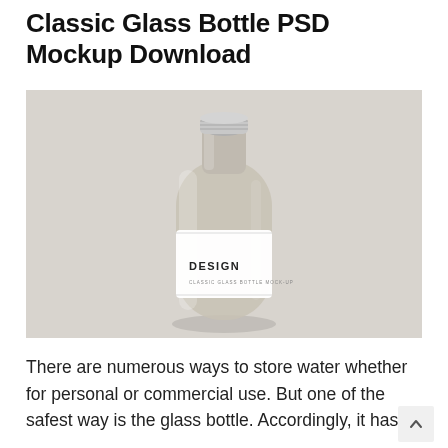Classic Glass Bottle PSD Mockup Download
[Figure (photo): A classic clear glass bottle with a silver screw cap and a white label reading 'DESIGN' and 'CLASSIC GLASS BOTTLE MOCK-UP', photographed from above on a light grey background.]
There are numerous ways to store water whether for personal or commercial use. But one of the safest way is the glass bottle. Accordingly, it has